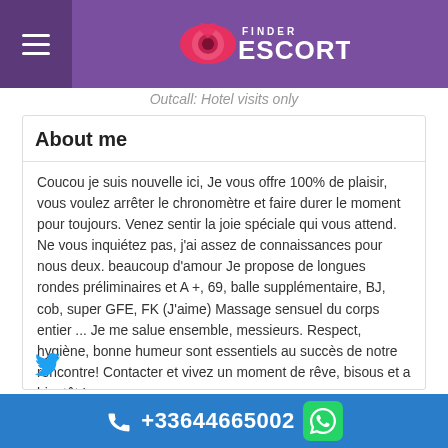Finder Escort
Outcall: Hotel visits only
About me
Coucou je suis nouvelle ici, Je vous offre 100% de plaisir, vous voulez arrêter le chronomètre et faire durer le moment pour toujours. Venez sentir la joie spéciale qui vous attend. Ne vous inquiétez pas, j'ai assez de connaissances pour nous deux. beaucoup d'amour Je propose de longues rondes préliminaires et A +, 69, balle supplémentaire, BJ, cob, super GFE, FK (J'aime) Massage sensuel du corps entier ... Je me salue ensemble, messieurs. Respect, hygiène, bonne humeur sont essentiels au succès de notre rencontre! Contacter et vivez un moment de rêve, bisous et a bientôt !
+33644665002